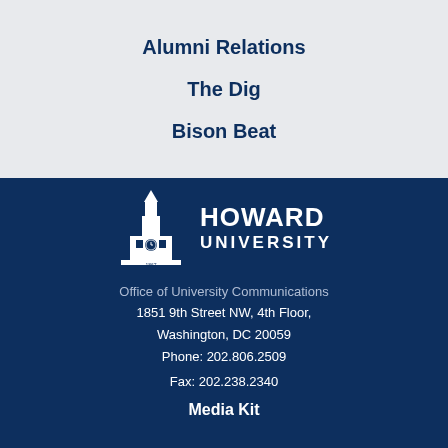Alumni Relations
The Dig
Bison Beat
[Figure (logo): Howard University logo: white tower/clock icon beside bold white text 'HOWARD UNIVERSITY' with '1867' beneath the tower]
Office of University Communications
1851 9th Street NW, 4th Floor,
Washington, DC 20059
Phone: 202.806.2509
Fax: 202.238.2340
Media Kit